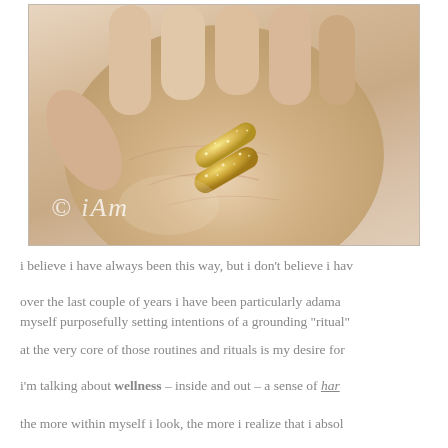[Figure (photo): A close-up photograph of an open human hand/palm holding two small golden/amber gel capsules or supplement pills. The image has a watermark logo reading 'iAm' in a cursive style at the bottom left. The image has a light gray-beige border.]
i believe i have always been this way, but i don't believe i hav
over the last couple of years i have been particularly adaman myself purposefully setting intentions of a grounding "ritual"
at the very core of those routines and rituals is my desire for
i'm talking about wellness – inside and out – a sense of har
the more within myself i look, the more i realize that i absol